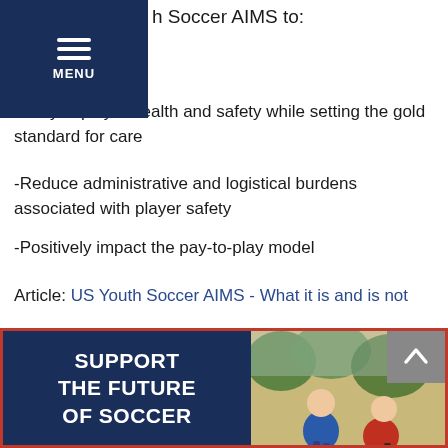h Soccer AIMS to:
e way in player health and safety while setting the gold standard for care
-Reduce administrative and logistical burdens associated with player safety
-Positively impact the pay-to-play model
Article: US Youth Soccer AIMS - What it is and is not
Please contact your US Youth Soccer member club, league or State Association representatives to learn more and to request access to the US Youth Soccer AIMS.
[Figure (photo): Banner image with blue background on left showing text SUPPORT THE FUTURE OF SOCCER in white bold letters, and on the right a photo of children in soccer uniforms running and smiling outdoors. A grey scroll-to-top button with a chevron up arrow is overlaid on the right side.]